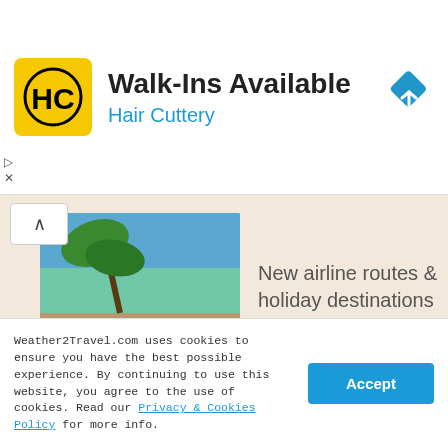[Figure (logo): Hair Cuttery HC logo - yellow square with black HC letters]
Walk-Ins Available
Hair Cuttery
[Figure (other): Blue diamond navigation/directions icon with right arrow]
[Figure (photo): Tropical beach scene with palm trees and turquoise water]
New airline routes & holiday destinations
[Figure (photo): Family walking on white sandy beach with blue water]
8 exciting summer destinations you can visit with TUI
[Figure (photo): Woman in white on turquoise beach]
Top 10 winter sun holiday destinations under £500
Weather2Travel.com uses cookies to ensure you have the best possible experience. By continuing to use this website, you agree to the use of cookies. Read our Privacy & Cookies Policy for more info.